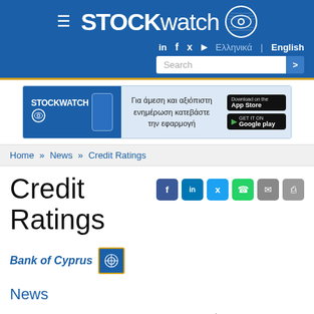STOCKwatch
[Figure (screenshot): Stockwatch mobile app advertisement banner with Greek text: Για άμεση και αξιόπιστη ενημέρωση κατεβάστε την εφαρμογή, with App Store and Google Play buttons]
Home » News » Credit Ratings
Credit Ratings
Bank of Cyprus
News
Cyprus Economy   European Economy   Greek Economy
World Economy   Commercial News   Interviews